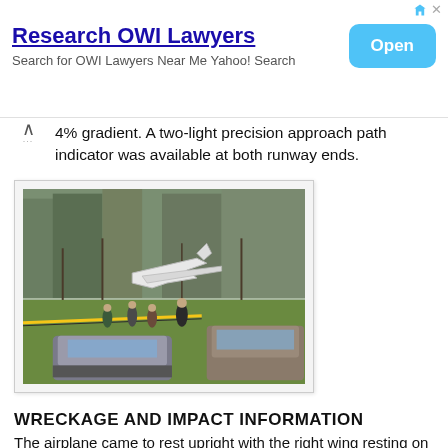Research OWI Lawyers | Search for OWI Lawyers Near Me Yahoo! Search | Open
4% gradient. A two-light precision approach path indicator was available at both runway ends.
[Figure (photo): Photo of a crashed small airplane resting near a tree line with yellow police/caution tape, several people standing around the wreckage, and vehicles (cars and SUV) in foreground on grass.]
WRECKAGE AND IMPACT INFORMATION
The airplane came to rest upright with the right wing resting on the airport boundary fence about 300 ft left of the